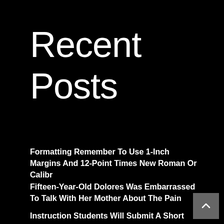Recent Posts
Formatting Remember To Use 1-Inch Margins And 12-Point Times New Roman Or Calibr
Fifteen-Year-Old Dolores Was Embarrassed To Talk With Her Mother About The Pain
Instruction Students Will Submit A Short Reflection Essay On Something New That
Exhibit 3.5 Pages Double Spaced Use...